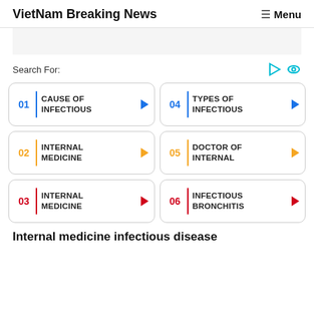VietNam Breaking News   ☰ Menu
Search For:
01 | CAUSE OF INFECTIOUS ▶
04 | TYPES OF INFECTIOUS ▶
02 | INTERNAL MEDICINE ▶
05 | DOCTOR OF INTERNAL ▶
03 | INTERNAL MEDICINE ▶
06 | INFECTIOUS BRONCHITIS ▶
Internal medicine infectious disease